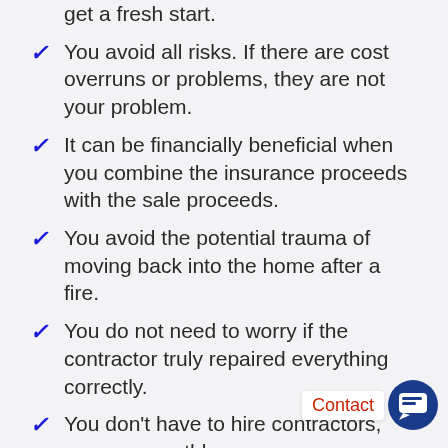get a fresh start.
You avoid all risks. If there are cost overruns or problems, they are not your problem.
It can be financially beneficial when you combine the insurance proceeds with the sale proceeds.
You avoid the potential trauma of moving back into the home after a fire.
You do not need to worry if the contractor truly repaired everything correctly.
You don't have to hire contractors, process monthly insuran... manage construction all the while